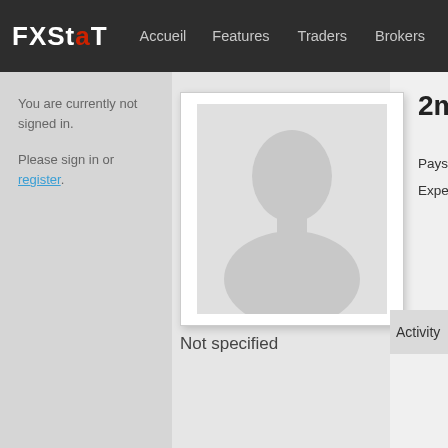FXSTAT — Accueil | Features | Traders | Brokers | Perf...
You are currently not signed in.
Please sign in or register.
[Figure (photo): Default avatar silhouette — grey profile placeholder image with white background and light border]
2milad
Pays: Unite...
Experience:
Activity  P...
Not specified